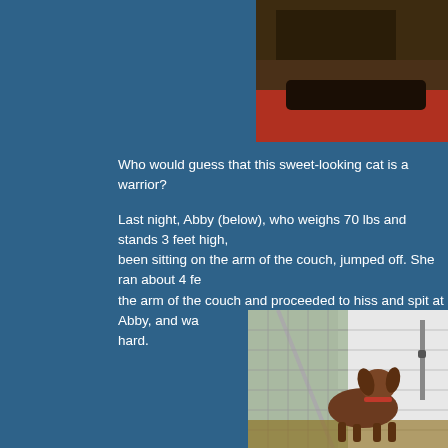[Figure (photo): Close-up photo of a cat with dark fur, partially visible, against a red background, cropped at top right of page]
Who would guess that this sweet-looking cat is a warrior?

Last night, Abby (below), who weighs 70 lbs and stands 3 feet high, been sitting on the arm of the couch, jumped off. She ran about 4 fee the arm of the couch and proceeded to hiss and spit at Abby, and wa hard.
[Figure (photo): Photo of a dog (Abby) standing near a chain-link fence next to a white building exterior, wearing a red collar]